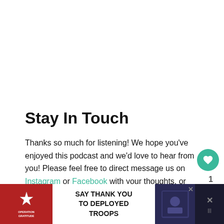Stay In Touch
Thanks so much for listening! We hope you've enjoyed this podcast and we'd love to hear from you! Please feel free to direct message us on Instagram or Facebook with your thoughts, or just check in to see what we are up to on the platforms. We have lots of fun on Instagram, and we have a wonderful welcoming cruising community on Facebook. Be su...
[Figure (infographic): Operation Gratitude advertisement banner: SAY THANK YOU TO DEPLOYED TROOPS]